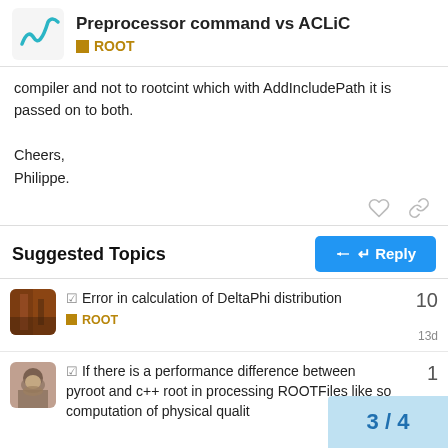Preprocessor command vs ACLiC — ROOT
compiler and not to rootcint which with AddIncludePath it is passed on to both.

Cheers,
Philippe.
Suggested Topics
✓ Error in calculation of DeltaPhi distribution
ROOT
13d
10
✓ If there is a performance difference between pyroot and c++ root in processing ROOTFiles like so computation of physical qualit
1